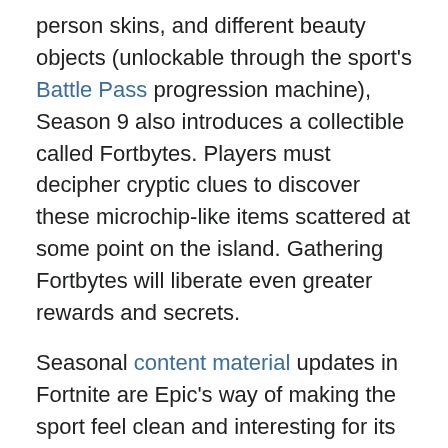person skins, and different beauty objects (unlockable through the sport's Battle Pass progression machine), Season 9 also introduces a collectible called Fortbytes. Players must decipher cryptic clues to discover these microchip-like items scattered at some point on the island. Gathering Fortbytes will liberate even greater rewards and secrets.
Seasonal content material updates in Fortnite are Epic's way of making the sport feel clean and interesting for its console, PC, and cell gamers. Fans also sit up for a brand new season (which lasts for around two months) because the updates typically change the map in a few ways. Season eight added an energetic volcano, and the eruption of that volcano induced the futuristic world players now see in Season 9.
These global-changing occasions create an unfastened,